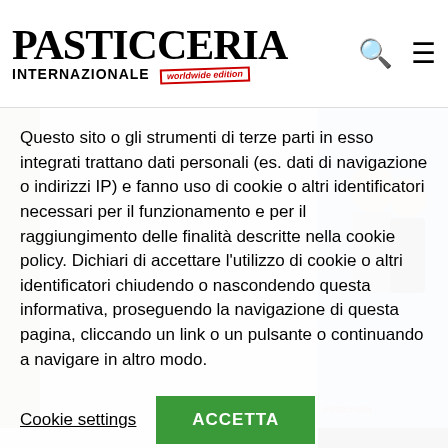PASTICCERIA INTERNAZIONALE worldwide edition
[Figure (photo): Two women in a social setting, one pinning something on the other, background blue curtain]
Questo sito o gli strumenti di terze parti in esso integrati trattano dati personali (es. dati di navigazione o indirizzi IP) e fanno uso di cookie o altri identificatori necessari per il funzionamento e per il raggiungimento delle finalità descritte nella cookie policy. Dichiari di accettare l'utilizzo di cookie o altri identificatori chiudendo o nascondendo questa informativa, proseguendo la navigazione di questa pagina, cliccando un link o un pulsante o continuando a navigare in altro modo.
Cookie settings   ACCETTA